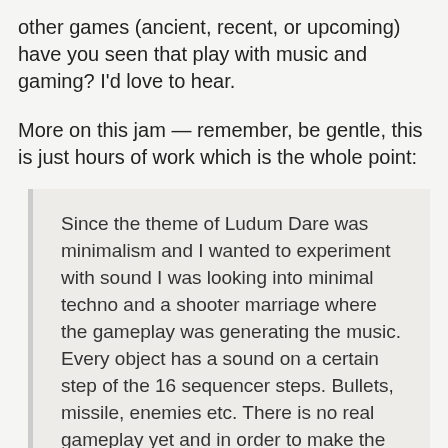other games (ancient, recent, or upcoming) have you seen that play with music and gaming? I'd love to hear.
More on this jam — remember, be gentle, this is just hours of work which is the whole point:
Since the theme of Ludum Dare was minimalism and I wanted to experiment with sound I was looking into minimal techno and a shooter marriage where the gameplay was generating the music. Every object has a sound on a certain step of the 16 sequencer steps. Bullets, missile, enemies etc. There is no real gameplay yet and in order to make the game more interesting the gameplay also would have to be more tied to the music it generates. There could be a battle between the enemies music/sounds and